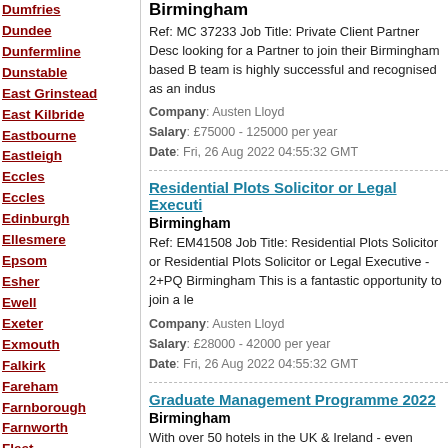Dumfries
Dundee
Dunfermline
Dunstable
East Grinstead
East Kilbride
Eastbourne
Eastleigh
Eccles
Eccles
Edinburgh
Ellesmere
Epsom
Esher
Ewell
Exeter
Exmouth
Falkirk
Fareham
Farnborough
Farnworth
Fleet
Birmingham
Ref: MC 37233 Job Title: Private Client Partner Desc looking for a Partner to join their Birmingham based B team is highly successful and recognised as an indus
Company: Austen Lloyd
Salary: £75000 - 125000 per year
Date: Fri, 26 Aug 2022 04:55:32 GMT
Residential Plots Solicitor or Legal Executi
Birmingham
Ref: EM41508 Job Title: Residential Plots Solicitor or Residential Plots Solicitor or Legal Executive - 2+PQ Birmingham This is a fantastic opportunity to join a le
Company: Austen Lloyd
Salary: £28000 - 42000 per year
Date: Fri, 26 Aug 2022 04:55:32 GMT
Graduate Management Programme 2022
Birmingham
With over 50 hotels in the UK & Ireland - even buildin pandemic! - we have exciting opportunities to not onl